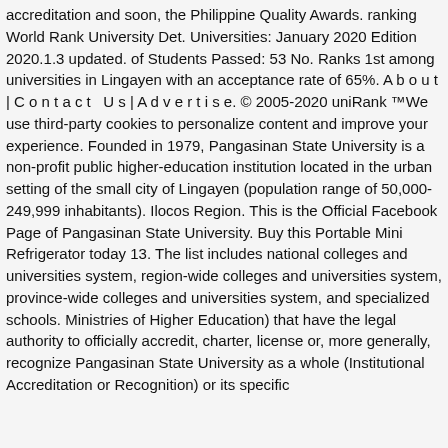accreditation and soon, the Philippine Quality Awards. ranking World Rank University Det. Universities: January 2020 Edition 2020.1.3 updated. of Students Passed: 53 No. Ranks 1st among universities in Lingayen with an acceptance rate of 65%. A b o u t | C o n t a c t  U s | A d v e r t i s e. © 2005-2020 uniRank ™We use third-party cookies to personalize content and improve your experience. Founded in 1979, Pangasinan State University is a non-profit public higher-education institution located in the urban setting of the small city of Lingayen (population range of 50,000-249,999 inhabitants). Ilocos Region. This is the Official Facebook Page of Pangasinan State University. Buy this Portable Mini Refrigerator today 13. The list includes national colleges and universities system, region-wide colleges and universities system, province-wide colleges and universities system, and specialized schools. Ministries of Higher Education) that have the legal authority to officially accredit, charter, license or, more generally, recognize Pangasinan State University as a whole (Institutional Accreditation or Recognition) or its specific